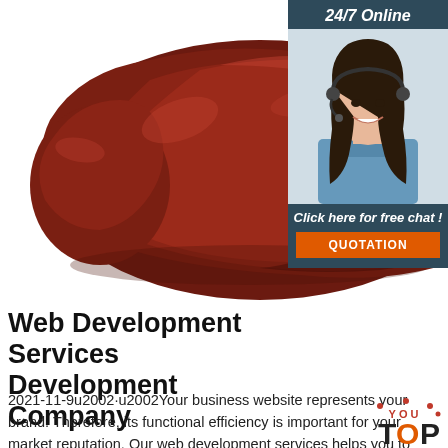[Figure (photo): Raw beef liver on white background, dark reddish-brown color]
[Figure (photo): 24/7 Online customer service agent - woman with headset smiling, with 'Click here for free chat!' text and orange QUOTATION button]
Web Development Services Development Company
2021-11-9u2002·u2002Your business website represents your brand. Therefore, its functional efficiency is important for your market reputation. Our web development services helps you to develop websites that comply with current industry standards, providing a seamless experience to your end-users.. Our web developers create high-performing websites